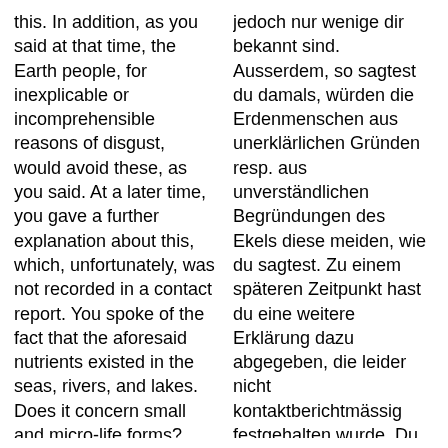this. In addition, as you said at that time, the Earth people, for inexplicable or incomprehensible reasons of disgust, would avoid these, as you said. At a later time, you gave a further explanation about this, which, unfortunately, was not recorded in a contact report. You spoke of the fact that the aforesaid nutrients existed in the seas, rivers, and lakes. Does it concern small and micro-life forms?
jedoch nur wenige dir bekannt sind. Ausserdem, so sagtest du damals, würden die Erdenmenschen aus unerklärlichen Gründen resp. aus unverständlichen Begründungen des Ekels diese meiden, wie du sagtest. Zu einem späteren Zeitpunkt hast du eine weitere Erklärung dazu abgegeben, die leider nicht kontaktberichtmässig festgehalten wurde. Du hast davon gesprochen, dass die besagten Nahrungsstoffe in den Meeren, Flüssen und Seen existierten. Handelt es sich dabei um Klein- und Kleinstlebensformen?